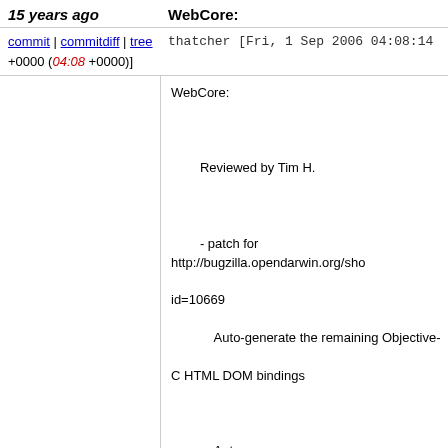15 years ago   WebCore:
commit | commitdiff | tree   thatcher [Fri, 1 Sep 2006 04:08:14 +0000 (04:08 +0000)]
WebCore:

        Reviewed by Tim H.

        - patch for http://bugzilla.opendarwin.org/show_bug.cgi?id=10669
            Auto-generate the remaining Objective-C HTML DOM bindings

            Auto-generates DOMHTMLAnchorElement, DOMHTMLBaseFontElement, DOMHTMLFrameSetElement, DOMHTMLImageElement, DOMHTMLMapElement, DOMHTMLObjectElement, DOMHTMLParaElement, DOMHTMLTableCaptionElement, DOMHTMLTableColElement, DOMHTMLTableElement, and DOMHTMLTableSectionElement.

            Splits DOMHTMLAppletElement and DOMHTMLElement into separate files.

        * DerivedSources.make:
        * WebCore.xcodeproj/project.pbxproj:
        * bindings/objc/DOM.mm: